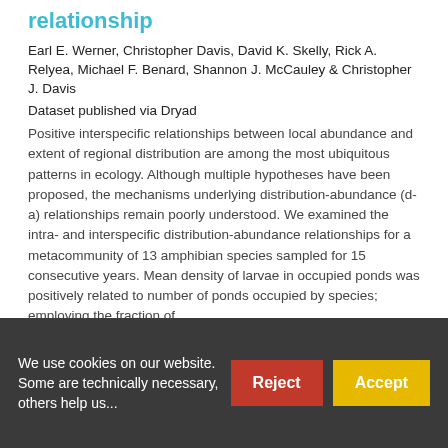relationship
Earl E. Werner, Christopher Davis, David K. Skelly, Rick A. Relyea, Michael F. Benard, Shannon J. McCauley & Christopher J. Davis
Dataset published via Dryad
Positive interspecific relationships between local abundance and extent of regional distribution are among the most ubiquitous patterns in ecology. Although multiple hypotheses have been proposed, the mechanisms underlying distribution-abundance (d-a) relationships remain poorly understood. We examined the intra- and interspecific distribution-abundance relationships for a metacommunity of 13 amphibian species sampled for 15 consecutive years. Mean density of larvae in occupied ponds was positively related to number of ponds occupied by species; employing the fraction of...
We use cookies on our website. Some are technically necessary, others help us...
Reject
Accept